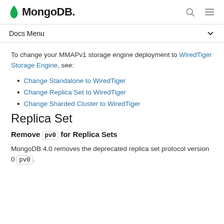MongoDB
Docs Menu
To change your MMAPv1 storage engine deployment to WiredTiger Storage Engine, see:
Change Standalone to WiredTiger
Change Replica Set to WiredTiger
Change Sharded Cluster to WiredTiger
Replica Set
Remove pv0 for Replica Sets
MongoDB 4.0 removes the deprecated replica set protocol version 0 pv0.